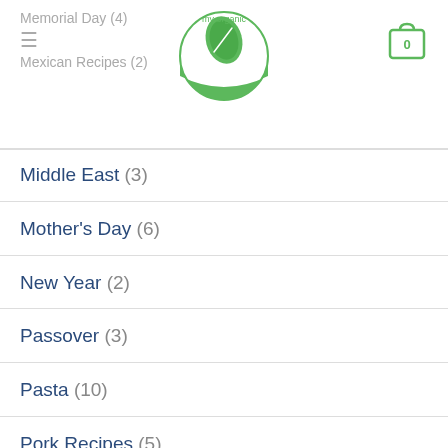Memorial Day (4) | Mexican Recipes (2) | my organic Recipes logo | cart 0
Middle East (3)
Mother's Day (6)
New Year (2)
Passover (3)
Pasta (10)
Pork Recipes (5)
President's Day (1)
Pure Organic Recipes (10)
Recipes with chicken (7)
Rice Recipes (6)